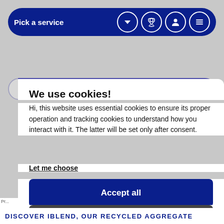[Figure (screenshot): Navigation bar with 'Pick a service' label, a dropdown arrow icon, phone icon, user icon, and hamburger menu icon on dark blue background with rounded corners]
[Figure (screenshot): A rounded dropdown selector with 'Select tag' placeholder text and a chevron arrow in blue/purple color on white background with blue border]
We use cookies!
Hi, this website uses essential cookies to ensure its proper operation and tracking cookies to understand how you interact with it. The latter will be set only after consent.
Let me choose
[Figure (screenshot): Accept all button - dark blue rounded rectangle button with white bold text]
[Figure (screenshot): Set preferences button - dark grey rounded rectangle button with white bold text]
DISCOVER IBLEND, OUR RECYCLED AGGREGATE